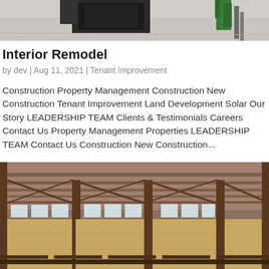[Figure (photo): Interior construction photo showing floor and equipment at top of page]
Interior Remodel
by dev | Aug 11, 2021 | Tenant Improvement
Construction Property Management Construction New Construction Tenant Improvement Land Development Solar Our Story LEADERSHIP TEAM Clients & Testimonials Careers Contact Us Property Management Properties LEADERSHIP TEAM Contact Us Construction New Construction...
[Figure (photo): Interior warehouse/construction photo showing exposed roof trusses, wooden OSB wall panels, and large windows along the walls]